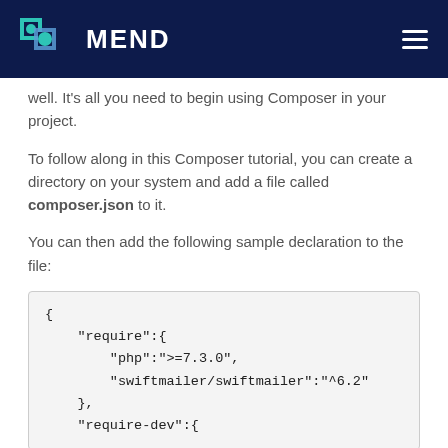MEND
well. It's all you need to begin using Composer in your project.
To follow along in this Composer tutorial, you can create a directory on your system and add a file called composer.json to it.
You can then add the following sample declaration to the file:
[Figure (screenshot): Code block showing a JSON snippet with require and require-dev keys for a composer.json file, including php >=7.3.0 and swiftmailer/swiftmailer ^6.2]